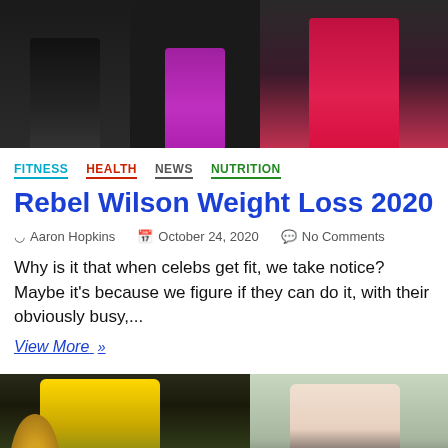[Figure (photo): Top collage of two images: left shows person in black outfit with magenta/purple dress, right shows person in red/pink dress]
FITNESS
HEALTH
NEWS
NUTRITION
Rebel Wilson Weight Loss 2020
Aaron Hopkins   October 24, 2020   No Comments
Why is it that when celebs get fit, we take notice? Maybe it's because we figure if they can do it, with their obviously busy,...
View More »
[Figure (photo): Bottom collage of two images: left shows blonde woman in green dress at Grammy awards, right shows woman in black outfit outdoors]